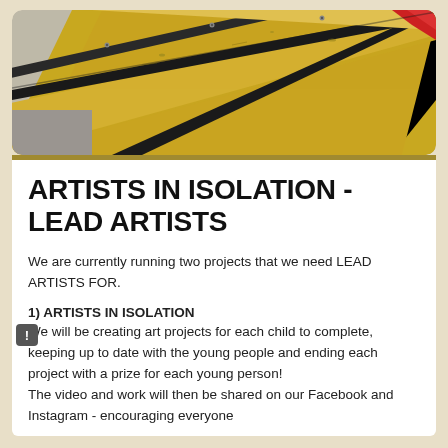[Figure (photo): Close-up photograph of what appears to be a yellow painted wooden object or barrier with black stripes and screws, photographed at an angle with debris scattered on it.]
ARTISTS IN ISOLATION - LEAD ARTISTS
We are currently running two projects that we need LEAD ARTISTS FOR.
1) ARTISTS IN ISOLATION
We will be creating art projects for each child to complete, keeping up to date with the young people and ending each project with a prize for each young person! The video and work will then be shared on our Facebook and Instagram - encouraging everyone